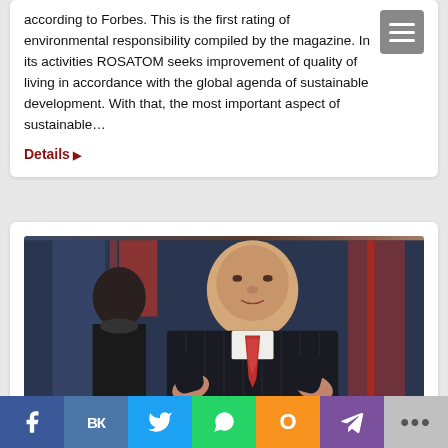according to Forbes. This is the first rating of environmental responsibility compiled by the magazine. In its activities ROSATOM seeks improvement of quality of living in accordance with the global agenda of sustainable development. With that, the most important aspect of sustainable…
Details ▶
[Figure (photo): Photo of an older man in a dark pinstripe suit with a red tie, speaking at a podium or event, with American flags in the background and a woman in a black mask visible behind him.]
Social share bar: Facebook, VK, Twitter, WhatsApp, Odnoklassniki, Viber, More